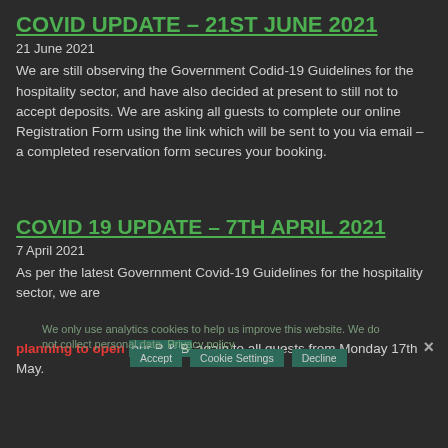COVID UPDATE – 21ST JUNE 2021
21 June 2021
We are still observing the Government Codid-19 Guidelines for the hospitality sector, and have also decided at present to still not to accept deposits. We are asking all guests to complete our online Registration Form using the link which will be sent to you via email – a completed reservation form secures your booking.
COVID 19 UPDATE – 7TH APRIL 2021
7 April 2021
As per the latest Government Covid-19 Guidelines for the hospitality sector, we are planning to open our B & B again to all guests from Monday 17th May.